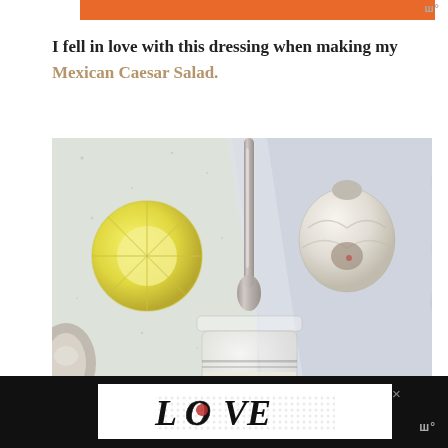I fell in love with this dressing when making my Mexican Caesar Salad.
[Figure (photo): Overhead view of salad dressing ingredients: a halved lemon, a head of garlic, a silver spoon, and a glass jar of creamy dressing on a light marble surface]
[Figure (screenshot): Bottom advertisement banner showing 'LOVE' stylized logo in black and white with a red heart detail, on a black background with a close X button]